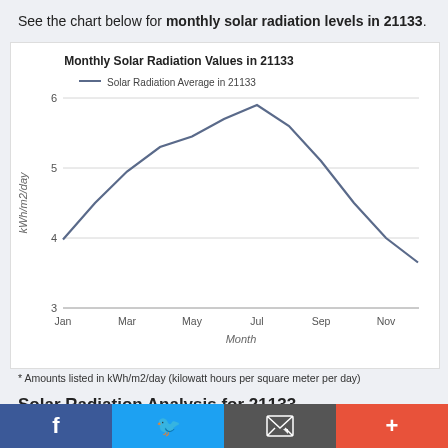See the chart below for monthly solar radiation levels in 21133.
[Figure (line-chart): Monthly Solar Radiation Values in 21133]
* Amounts listed in kWh/m2/day (kilowatt hours per square meter per day)
Solar Radiation Analysis for 21133
The region associated with 21133 has a average annual solar radiation value of 5.04 kilowatt hours per square
[Figure (photo): Solar panels with sunlight reflecting off them]